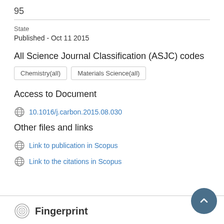95
State
Published - Oct 11 2015
All Science Journal Classification (ASJC) codes
Chemistry(all)
Materials Science(all)
Access to Document
10.1016/j.carbon.2015.08.030
Other files and links
Link to publication in Scopus
Link to the citations in Scopus
Fingerprint